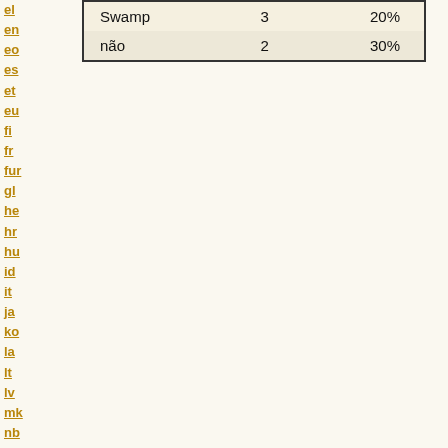| Swamp | 3 | 20% |
| não | 2 | 30% |
el en eo es et eu fi fr fur gl he hr hu id it ja ko la lt lv mk nb nl pl pt